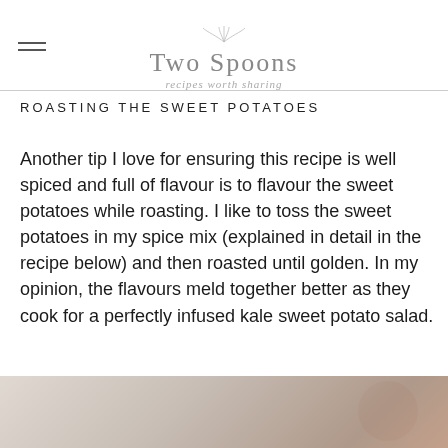Two Spoons — recipes worth sharing
ROASTING THE SWEET POTATOES
Another tip I love for ensuring this recipe is well spiced and full of flavour is to flavour the sweet potatoes while roasting. I like to toss the sweet potatoes in my spice mix (explained in detail in the recipe below) and then roasted until golden. In my opinion, the flavours meld together better as they cook for a perfectly infused kale sweet potato salad.
[Figure (photo): Partial photo of a kale sweet potato salad dish, cropped at bottom of page]